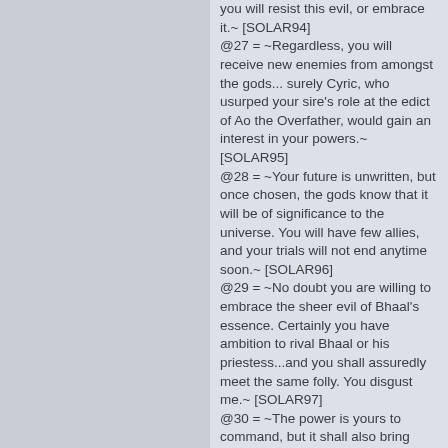you will resist this evil, or embrace it.~ [SOLAR94]
@27 = ~Regardless, you will receive new enemies from amongst the gods... surely Cyric, who usurped your sire's role at the edict of Ao the Overfather, would gain an interest in your powers.~ [SOLAR95]
@28 = ~Your future is unwritten, but once chosen, the gods know that it will be of significance to the universe. You will have few allies, and your trials will not end anytime soon.~ [SOLAR96]
@29 = ~No doubt you are willing to embrace the sheer evil of Bhaal's essence. Certainly you have ambition to rival Bhaal or his priestess...and you shall assuredly meet the same folly. You disgust me.~ [SOLAR97]
@30 = ~The power is yours to command, but it shall also bring godly enemies. Surely Cyric, the usurper of your sire's divine role by edict of Ao the Overfather, will gain an interest in